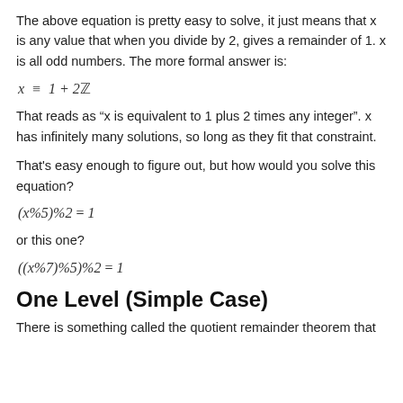The above equation is pretty easy to solve, it just means that x is any value that when you divide by 2, gives a remainder of 1. x is all odd numbers. The more formal answer is:
That reads as “x is equivalent to 1 plus 2 times any integer”. x has infinitely many solutions, so long as they fit that constraint.
That’s easy enough to figure out, but how would you solve this equation?
or this one?
One Level (Simple Case)
There is something called the quotient remainder theorem that